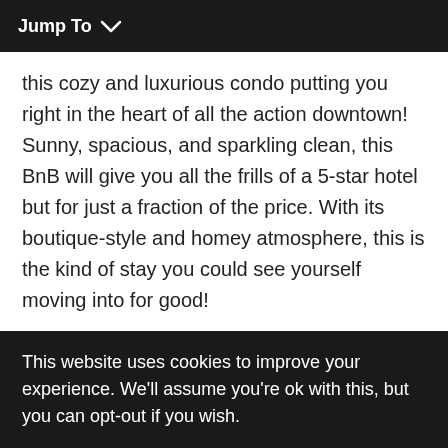Jump To ∨
this cozy and luxurious condo putting you right in the heart of all the action downtown! Sunny, spacious, and sparkling clean, this BnB will give you all the frills of a 5-star hotel but for just a fraction of the price. With its boutique-style and homey atmosphere, this is the kind of stay you could see yourself moving into for good!
[Figure (other): Red rounded button with Airbnb logo and text 'View on Airbnb']
This website uses cookies to improve your experience. We'll assume you're ok with this, but you can opt-out if you wish.